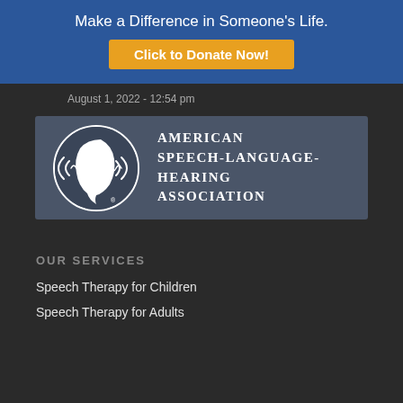Make a Difference in Someone's Life.
Click to Donate Now!
August 1, 2022 - 12:54 pm
[Figure (logo): American Speech-Language-Hearing Association logo with circular emblem showing a face silhouette and sound waves, on a dark blue-grey background]
OUR SERVICES
Speech Therapy for Children
Speech Therapy for Adults